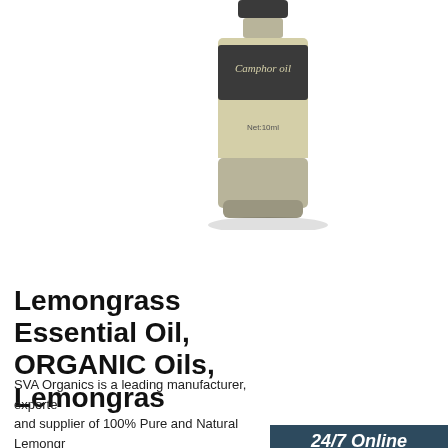[Figure (photo): Camphor oil bottle with dark label showing 'Camphor oil' text and 'Net:10ml' at bottom]
[Figure (photo): 24/7 Online banner with customer service representative wearing headset]
Lemongrass Essential Oil, ORGANIC Oils, Lemongras
SVA Organics is a leading manufacturer, exporter and supplier of 100% Pure and Natural Lemongrass Oil, Organic worldwide. Our catalog features a range products for skin care, hair care & aromatherapy.
[Figure (other): Click here for free chat! button and QUOTATION button]
[Figure (other): Get Price green button]
[Figure (logo): TOP logo with orange dots and text]